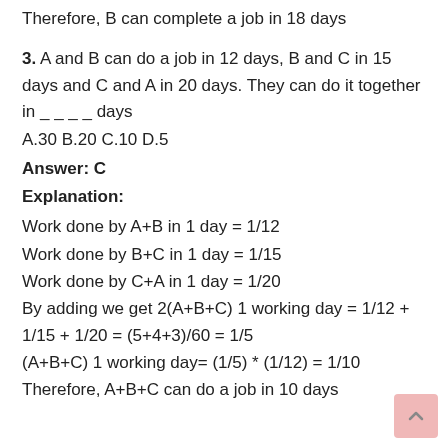Therefore, B can complete a job in 18 days
3. A and B can do a job in 12 days, B and C in 15 days and C and A in 20 days. They can do it together in _ _ _ _ days
A.30 B.20 C.10 D.5
Answer: C
Explanation:
Work done by A+B in 1 day = 1/12
Work done by B+C in 1 day = 1/15
Work done by C+A in 1 day = 1/20
By adding we get 2(A+B+C) 1 working day = 1/12 + 1/15 + 1/20 = (5+4+3)/60 = 1/5
(A+B+C) 1 working day= (1/5) * (1/12) = 1/10
Therefore, A+B+C can do a job in 10 days